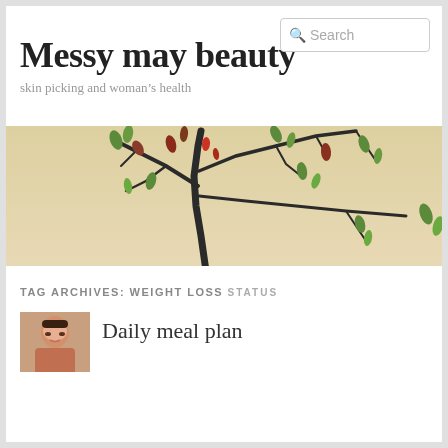Messy may beauty
skin picking and woman's health
[Figure (photo): Banner image of a bonsai tree with dark branches and small red and green leaves against a warm beige/cream background]
TAG ARCHIVES: WEIGHT LOSS
STATUS
[Figure (photo): Small thumbnail photo of a woman with artistic styling]
Daily meal plan